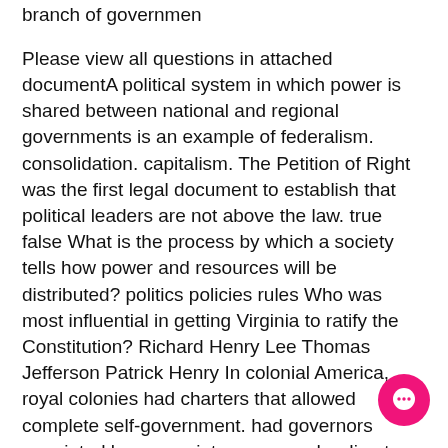branch of governmen
Please view all questions in attached documentA political system in which power is shared between national and regional governments is an example of federalism. consolidation. capitalism. The Petition of Right was the first legal document to establish that political leaders are not above the law. true false What is the process by which a society tells how power and resources will be distributed? politics policies rules Who was most influential in getting Virginia to ratify the Constitution? Richard Henry Lee Thomas Jefferson Patrick Henry In colonial America, royal colonies had charters that allowed complete self-government. had governors appointed by a proprietor. were under direct control of the Crown. How many methods are there to amend the Constitution? four six seven In a confederate government, the central government holds most of the power. the regional governments hold most of the